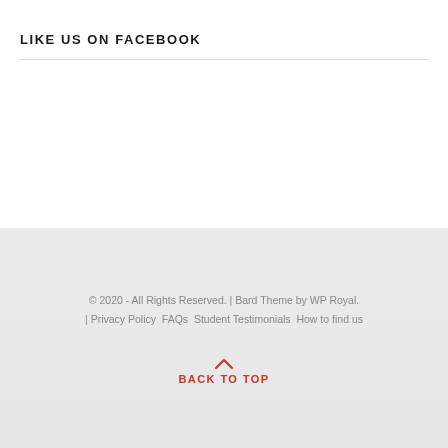LIKE US ON FACEBOOK
© 2020 - All Rights Reserved. | Bard Theme by WP Royal. | Privacy Policy  FAQs  Student Testimonials  How to find us
BACK TO TOP